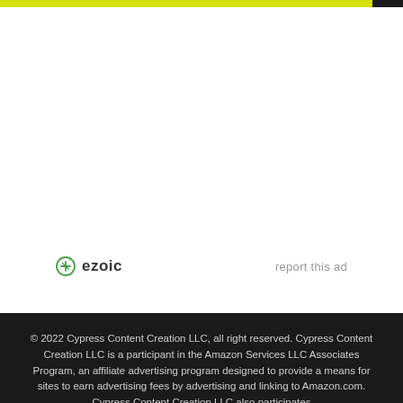[Figure (logo): Ezoic logo with circular icon and 'ezoic' text, plus 'report this ad' link on the right]
© 2022 Cypress Content Creation LLC, all right reserved. Cypress Content Creation LLC is a participant in the Amazon Services LLC Associates Program, an affiliate advertising program designed to provide a means for sites to earn advertising fees by advertising and linking to Amazon.com. Cypress Content Creation LLC also participates